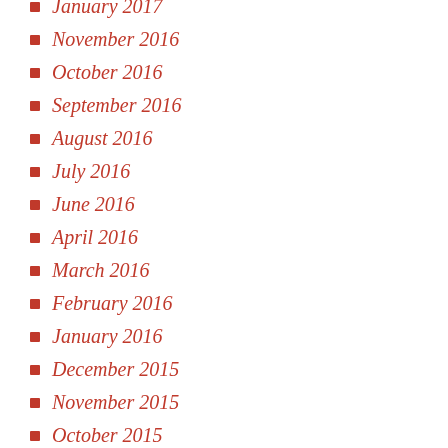January 2017
November 2016
October 2016
September 2016
August 2016
July 2016
June 2016
April 2016
March 2016
February 2016
January 2016
December 2015
November 2015
October 2015
September 2015
August 2015
July 2015
June 2015
May 2015
April 2015
March 2015
February 2015